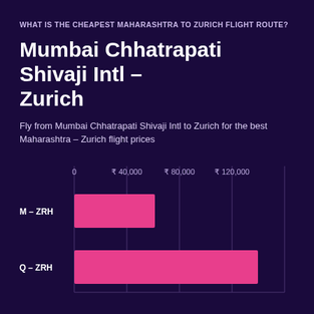WHAT IS THE CHEAPEST MAHARASHTRA TO ZURICH FLIGHT ROUTE?
Mumbai Chhatrapati Shivaji Intl – Zurich
Fly from Mumbai Chhatrapati Shivaji Intl to Zurich for the best Maharashtra – Zurich flight prices
[Figure (bar-chart): Maharashtra to Zurich flight routes by price]